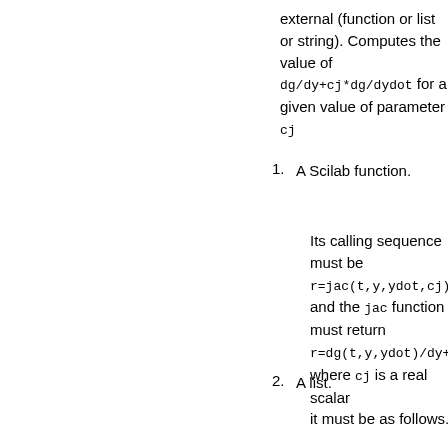external (function or list or string). Computes the value of dg/dy+cj*dg/dydot for a given value of parameter cj
1. A Scilab function.
Its calling sequence must be r=jac(t,y,ydot,cj) and the jac function must return r=dg(t,y,ydot)/dy+ where cj is a real scalar
2. A list.
it must be as follows.